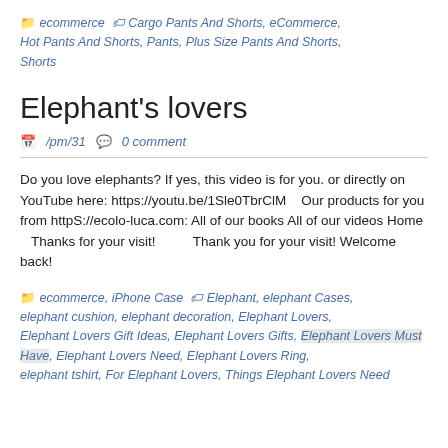ecommerce  Cargo Pants And Shorts, eCommerce, Hot Pants And Shorts, Pants, Plus Size Pants And Shorts, Shorts
Elephant's lovers
/pm/31   0 comment
Do you love elephants? If yes, this video is for you. or directly on YouTube here: https://youtu.be/1Sle0TbrClM   Our products for you from httpS://ecolo-luca.com: All of our books All of our videos Home   Thanks for your visit!         Thank you for your visit! Welcome back!
ecommerce, iPhone Case   Elephant, elephant Cases, elephant cushion, elephant decoration, Elephant Lovers, Elephant Lovers Gift Ideas, Elephant Lovers Gifts, Elephant Lovers Must Have, Elephant Lovers Need, Elephant Lovers Ring, elephant tshirt, For Elephant Lovers, Things Elephant Lovers Need